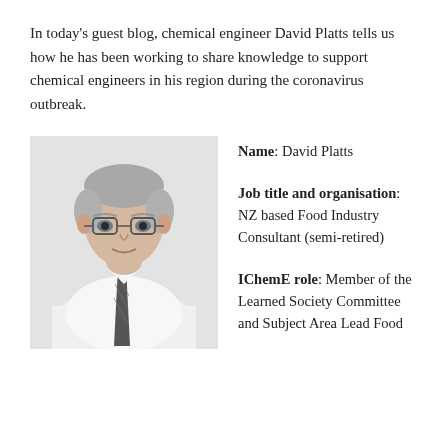In today’s guest blog, chemical engineer David Platts tells us how he has been working to share knowledge to support chemical engineers in his region during the coronavirus outbreak.
[Figure (photo): Portrait photograph of David Platts, an older man with grey hair wearing glasses, a white shirt and dark tie, against a light background.]
Name: David Platts

Job title and organisation: NZ based Food Industry Consultant (semi-retired)

IChemE role: Member of the Learned Society Committee and Subject Area Lead Food